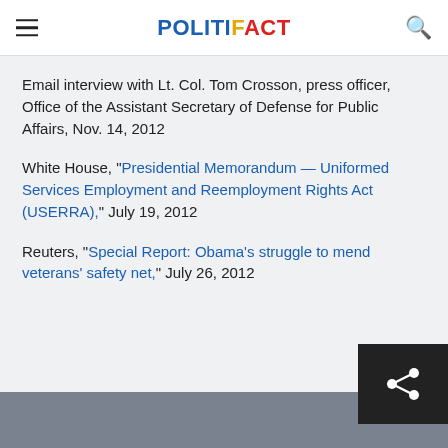POLITIFACT
Email interview with Lt. Col. Tom Crosson, press officer, Office of the Assistant Secretary of Defense for Public Affairs, Nov. 14, 2012
White House, "Presidential Memorandum — Uniformed Services Employment and Reemployment Rights Act (USERRA)," July 19, 2012
Reuters, "Special Report: Obama's struggle to mend veterans' safety net," July 26, 2012